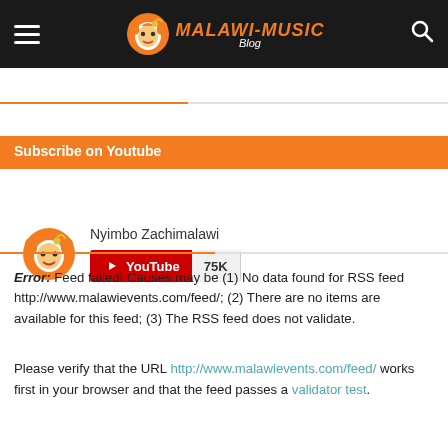MALAWI-MUSIC Blog
Subscribe on Youtube
[Figure (logo): Nyimbo Zachimalawi YouTube channel widget with avatar logo and subscribe button showing 75K subscribers]
MALAWIEVENTS.COM
Error: Feed failed! Causes may be (1) No data found for RSS feed http://www.malawievents.com/feed/; (2) There are no items are available for this feed; (3) The RSS feed does not validate.
Please verify that the URL http://www.malawievents.com/feed/ works first in your browser and that the feed passes a validator test.